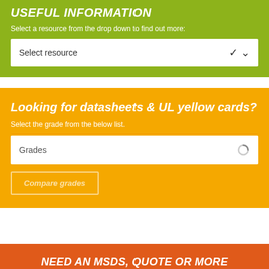Useful information
Select a resource from the drop down to find out more:
[Figure (screenshot): Dropdown selector box with text 'Select resource' and a chevron icon]
Looking for datasheets & UL yellow cards?
Select the grade from the below list.
[Figure (screenshot): Dropdown selector box with text 'Grades' and a loading/spinner icon]
Compare grades
NEED AN MSDS, QUOTE OR MORE INFORMATION? GET IN TOUCH WITH US TODAY!